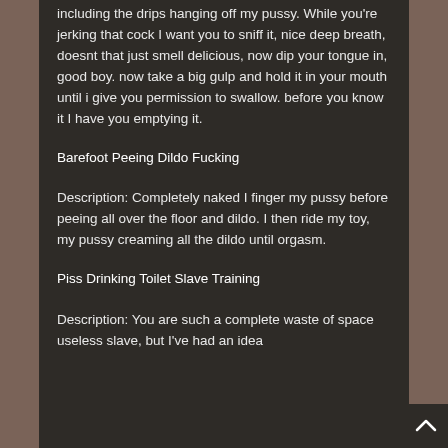including the drips hanging off my pussy. While you're jerking that cock I want you to sniff it, nice deep breath, doesnt that just smell delicious, now dip your tongue in, good boy. now take a big gulp and hold it in your mouth until i give you permission to swallow. before you know it I have you emptying it.
Barefoot Peeing Dildo Fucking
Description: Completely naked I finger my pussy before peeing all over the floor and dildo. I then ride my toy, my pussy creaming all the dildo until orgasm.
Piss Drinking Toilet Slave Training
Description: You are such a complete waste of space useless slave, but I've had an idea